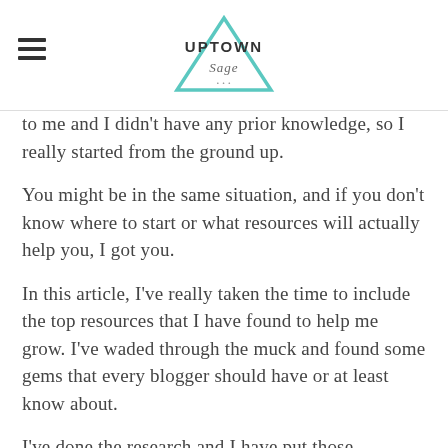UPTOWN Sage
to me and I didn't have any prior knowledge, so I really started from the ground up.
You might be in the same situation, and if you don't know where to start or what resources will actually help you, I got you.
In this article, I've really taken the time to include the top resources that I have found to help me grow. I've waded through the muck and found some gems that every blogger should have or at least know about.
I've done the research and I have put those